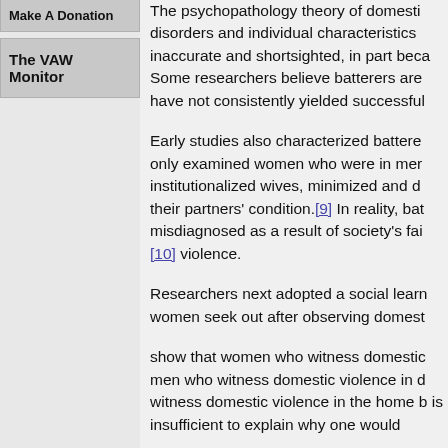Make A Donation
The VAW Monitor
The psychopathology theory of domestic disorders and individual characteristics inaccurate and shortsighted, in part beca Some researchers believe batterers are have not consistently yielded successful
Early studies also characterized battere only examined women who were in mer institutionalized wives, minimized and d their partners' condition.[9] In reality, bat misdiagnosed as a result of society's fai [10] violence.
Researchers next adopted a social learn women seek out after observing domest
show that women who witness domestic men who witness domestic violence in c witness domestic violence in the home b is insufficient to explain why one would
A better explanation for the relationship of many sources of information that influ that reinforces patriarchal norms by telli acceptable to enforce their control throu
Closely related to the "learned behavior' theorists explain men's violence is a res theory believe that men are abusive wh